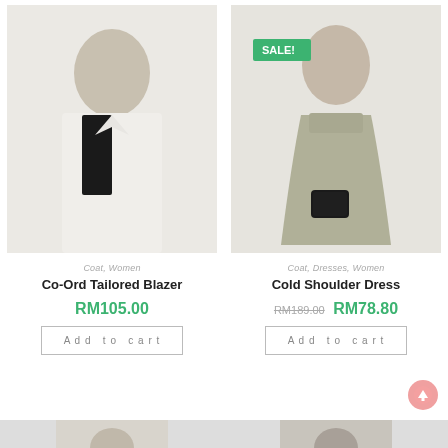[Figure (photo): Woman wearing a white co-ord tailored blazer over a black top, light background]
[Figure (photo): Woman wearing a grey cold shoulder dress, holding a black quilted bag, with a SALE! badge overlay]
Coat, Women
Coat, Dresses, Women
Co-Ord Tailored Blazer
Cold Shoulder Dress
RM105.00
RM189.00 RM78.80
Add to cart
Add to cart
[Figure (photo): Partial bottom strip showing cropped product images]
[Figure (photo): Partial bottom strip showing cropped product images]